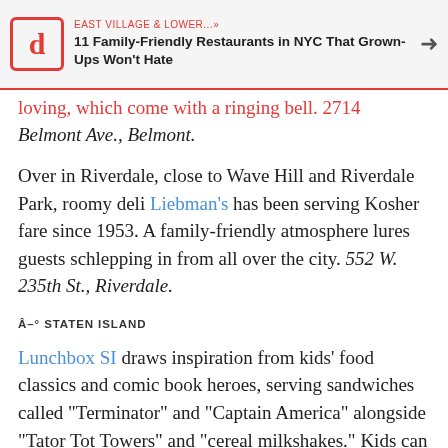EAST VILLAGE & LOWER...» | 11 Family-Friendly Restaurants in NYC That Grown-Ups Won't Hate
loving, which come with a ringing bell. 2714 Belmont Ave., Belmont.
Over in Riverdale, close to Wave Hill and Riverdale Park, roomy deli Liebman's has been serving Kosher fare since 1953. A family-friendly atmosphere lures guests schlepping in from all over the city. 552 W. 235th St., Riverdale.
★ STATEN ISLAND
Lunchbox SI draws inspiration from kids' food classics and comic book heroes, serving sandwiches called "Terminator" and "Captain America" alongside "Tator Tot Towers" and "cereal milkshakes." Kids can request a